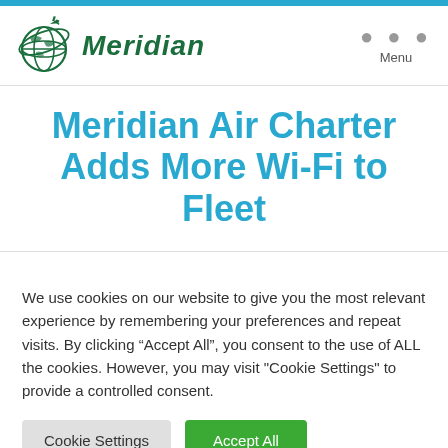Meridian
Meridian Air Charter Adds More Wi-Fi to Fleet
We use cookies on our website to give you the most relevant experience by remembering your preferences and repeat visits. By clicking “Accept All”, you consent to the use of ALL the cookies. However, you may visit "Cookie Settings" to provide a controlled consent.
Cookie Settings | Accept All